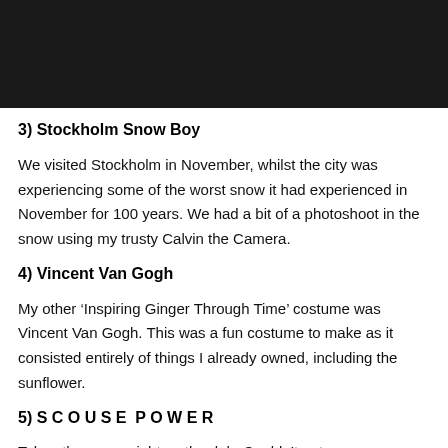3) Stockholm Snow Boy
We visited Stockholm in November, whilst the city was experiencing some of the worst snow it had experienced in November for 100 years. We had a bit of a photoshoot in the snow using my trusty Calvin the Camera.
4) Vincent Van Gogh
My other ‘Inspiring Ginger Through Time’ costume was Vincent Van Gogh. This was a fun costume to make as it consisted entirely of things I already owned, including the sunflower.
5) S C O U S E  P O W E R
Taken the same night as the dab. Couldn’t not